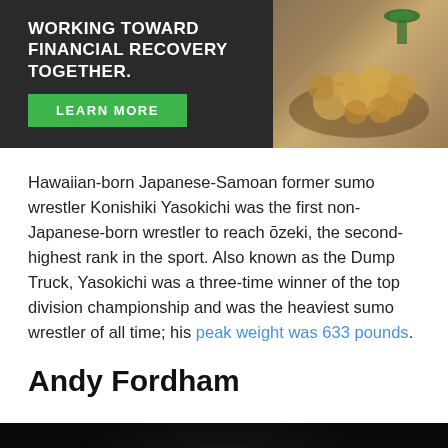[Figure (photo): Advertisement banner with dark background showing text 'WORKING TOWARD FINANCIAL RECOVERY TOGETHER.' with a green LEARN MORE button and an image of coins in a jar with a plant.]
Hawaiian-born Japanese-Samoan former sumo wrestler Konishiki Yasokichi was the first non-Japanese-born wrestler to reach ōzeki, the second-highest rank in the sport. Also known as the Dump Truck, Yasokichi was a three-time winner of the top division championship and was the heaviest sumo wrestler of all time; his peak weight was 633 pounds.
Andy Fordham
[Figure (photo): Dark photo of Andy Fordham, partially visible at bottom of page.]